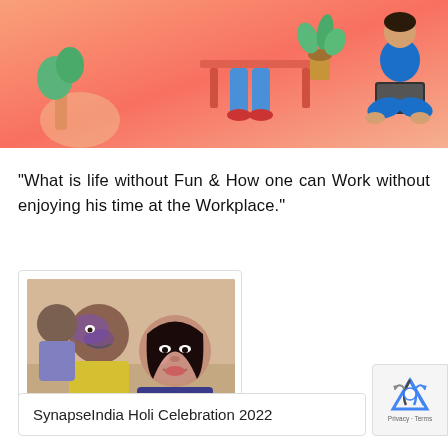[Figure (illustration): Header banner with coral/salmon gradient background and illustrated figures of people working at desks]
“What is life without Fun & How one can Work without enjoying his time at the Workplace.”
[Figure (photo): Photo of people celebrating Holi festival with colored powder on their faces]
SynapseIndia Holi Celebration 2022